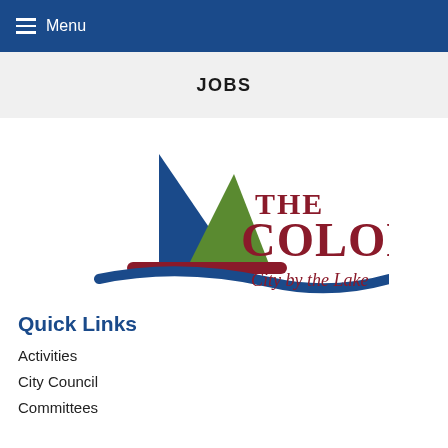Menu
JOBS
[Figure (logo): The Colony - City by the Lake logo featuring a sailboat with blue and green sails over a red hull on a blue wave/river]
Quick Links
Activities
City Council
Committees